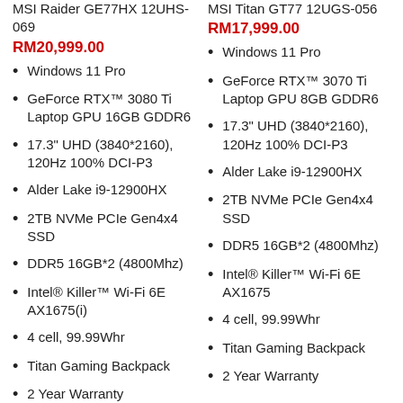MSI Raider GE77HX 12UHS-069
MSI Titan GT77 12UGS-056
RM20,999.00
RM17,999.00
Windows 11 Pro
Windows 11 Pro
GeForce RTX™ 3080 Ti Laptop GPU 16GB GDDR6
GeForce RTX™ 3070 Ti Laptop GPU 8GB GDDR6
17.3" UHD (3840*2160), 120Hz 100% DCI-P3
17.3" UHD (3840*2160), 120Hz 100% DCI-P3
Alder Lake i9-12900HX
Alder Lake i9-12900HX
2TB NVMe PCIe Gen4x4 SSD
2TB NVMe PCIe Gen4x4 SSD
DDR5 16GB*2 (4800Mhz)
DDR5 16GB*2 (4800Mhz)
Intel® Killer™ Wi-Fi 6E AX1675(i)
Intel® Killer™ Wi-Fi 6E AX1675
4 cell, 99.99Whr
4 cell, 99.99Whr
Titan Gaming Backpack
Titan Gaming Backpack
2 Year Warranty
2 Year Warranty